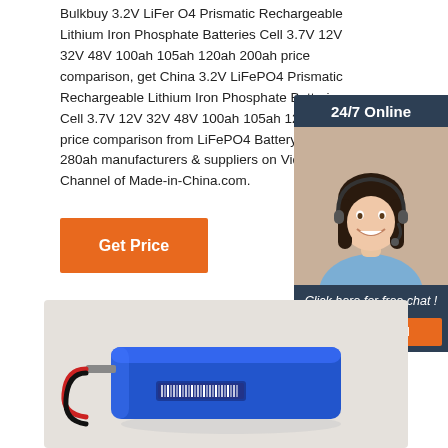Bulkbuy 3.2V LiFer O4 Prismatic Rechargeable Lithium Iron Phosphate Batteries Cell 3.7V 12V 32V 48V 100ah 105ah 120ah 200ah price comparison, get China 3.2V LiFePO4 Prismatic Rechargeable Lithium Iron Phosphate Batteries Cell 3.7V 12V 32V 48V 100ah 105ah 120ah 200ah price comparison from LiFePO4 Battery, LiFePO4 280ah manufacturers & suppliers on Video Channel of Made-in-China.com.
[Figure (other): Customer service chat widget with 24/7 Online label, photo of woman with headset, Click here for free chat text, and QUOTATION button]
Get Price
[Figure (photo): Photo of a blue rectangular LiFePO4 battery pack with red wires on a light grey background]